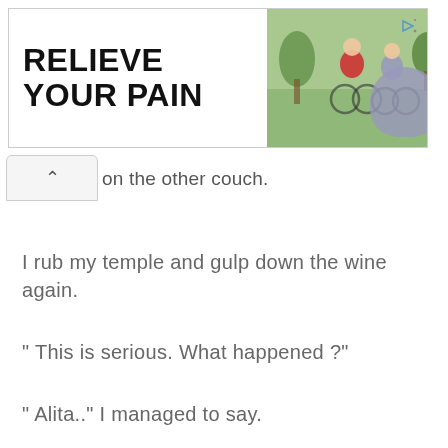[Figure (screenshot): Advertisement banner reading RELIEVE YOUR PAIN with image of people on bicycles in a park]
g on the other couch.
I rub my temple and gulp down the wine again.
" This is serious. What happened ?"
" Alita.." I managed to say.